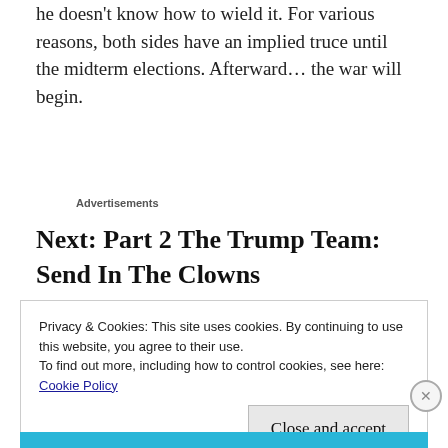he doesn't know how to wield it. For various reasons, both sides have an implied truce until the midterm elections. Afterward… the war will begin.
Advertisements
Next: Part 2 The Trump Team: Send In The Clowns
Privacy & Cookies: This site uses cookies. By continuing to use this website, you agree to their use.
To find out more, including how to control cookies, see here:
Cookie Policy
Close and accept